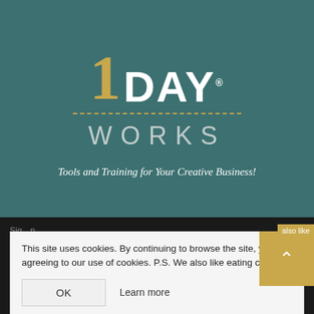[Figure (logo): 1 DAY WORKS logo on teal background. Large gold '1' with white 'DAY' and registered trademark symbol, dashed gold divider line, 'WORKS' in light grey spaced letters below.]
Tools and Training for Your Creative Business!
This site uses cookies. By continuing to browse the site, you are agreeing to our use of cookies. P.S. We also like eating cookies.
OK
Learn more
Email